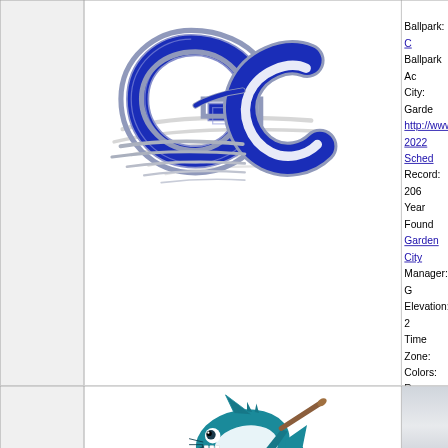[Figure (logo): Garden City Wind baseball team GC logo in blue and grey]
Ballpark: C...
Ballpark Ac...
City: Garde...
http://www....
2022 Sched...
Record: 206...
Year Found...
Garden City...
Manager: G...
Elevation: 2...
Time Zone:...
Colors: Roy...
Phone: 575-...
[Figure (photo): Close-up photo of GC logo on blue background]
[Figure (illustration): Garden City Wind mascot - cartoon shark/fish holding a baseball bat, teal colored]